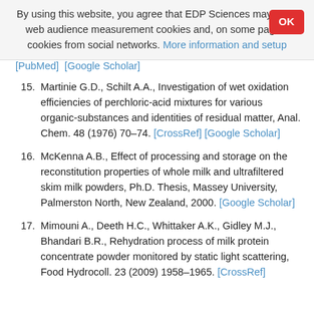By using this website, you agree that EDP Sciences may store web audience measurement cookies and, on some pages, cookies from social networks. More information and setup
[PubMed] [Google Scholar]
15. Martinie G.D., Schilt A.A., Investigation of wet oxidation efficiencies of perchloric-acid mixtures for various organic-substances and identities of residual matter, Anal. Chem. 48 (1976) 70–74. [CrossRef] [Google Scholar]
16. McKenna A.B., Effect of processing and storage on the reconstitution properties of whole milk and ultrafiltered skim milk powders, Ph.D. Thesis, Massey University, Palmerston North, New Zealand, 2000. [Google Scholar]
17. Mimouni A., Deeth H.C., Whittaker A.K., Gidley M.J., Bhandari B.R., Rehydration process of milk protein concentrate powder monitored by static light scattering, Food Hydrocoll. 23 (2009) 1958–1965. [CrossRef]